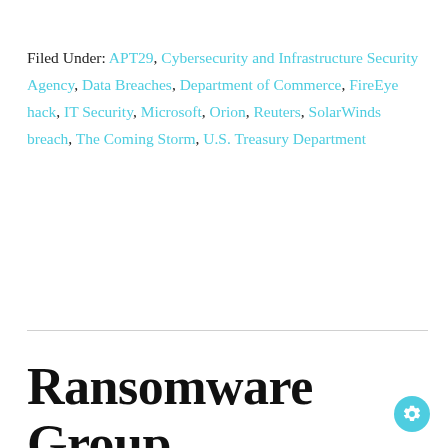Filed Under: APT29, Cybersecurity and Infrastructure Security Agency, Data Breaches, Department of Commerce, FireEye hack, IT Security, Microsoft, Orion, Reuters, SolarWinds breach, The Coming Storm, U.S. Treasury Department
Ransomware Group Targets Federal